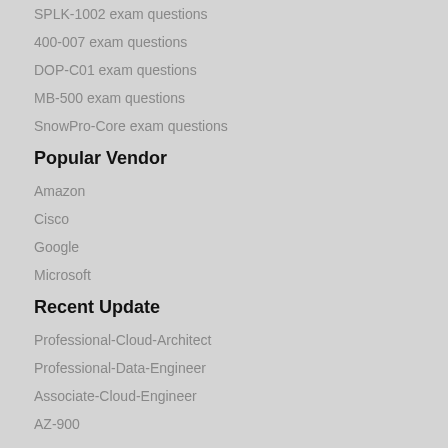SPLK-1002 exam questions
400-007 exam questions
DOP-C01 exam questions
MB-500 exam questions
SnowPro-Core exam questions
Popular Vendor
Amazon
Cisco
Google
Microsoft
Recent Update
Professional-Cloud-Architect
Professional-Data-Engineer
Associate-Cloud-Engineer
AZ-900